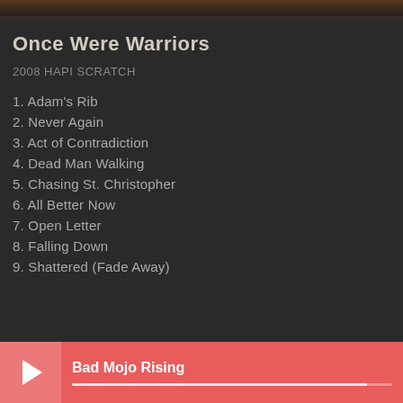[Figure (photo): Dark reddish-brown album artwork image strip at the top of the screen]
Once Were Warriors
2008 HAPI SCRATCH
1. Adam's Rib
2. Never Again
3. Act of Contradiction
4. Dead Man Walking
5. Chasing St. Christopher
6. All Better Now
7. Open Letter
8. Falling Down
9. Shattered (Fade Away)
Bad Mojo Rising